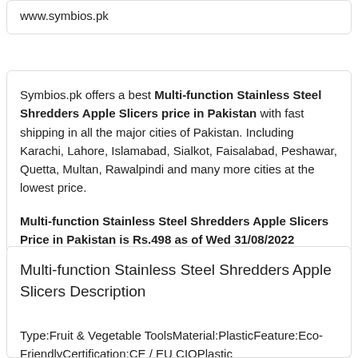www.symbios.pk
Symbios.pk offers a best Multi-function Stainless Steel Shredders Apple Slicers price in Pakistan with fast shipping in all the major cities of Pakistan. Including Karachi, Lahore, Islamabad, Sialkot, Faisalabad, Peshawar, Quetta, Multan, Rawalpindi and many more cities at the lowest price.
Multi-function Stainless Steel Shredders Apple Slicers Price in Pakistan is Rs.498 as of Wed 31/08/2022
Multi-function Stainless Steel Shredders Apple Slicers Description
Type:Fruit & Vegetable ToolsMaterial:PlasticFeature:Eco-FriendlyCertification:CE / EU CIOPlastic